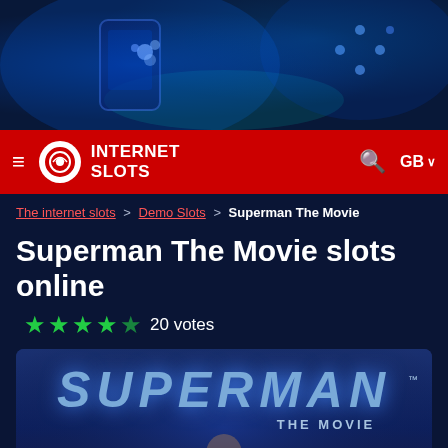[Figure (illustration): Dark blue hero banner with glowing casino/dice elements and smartphone]
INTERNET SLOTS — navigation bar with hamburger menu, logo, search icon, GB country selector
The internet slots > Demo Slots > Superman The Movie
Superman The Movie slots online
★★★★☆ 20 votes
[Figure (screenshot): Superman The Movie slot game preview image with PLAY FREE button overlay, showing Superman flying with the movie title logo]